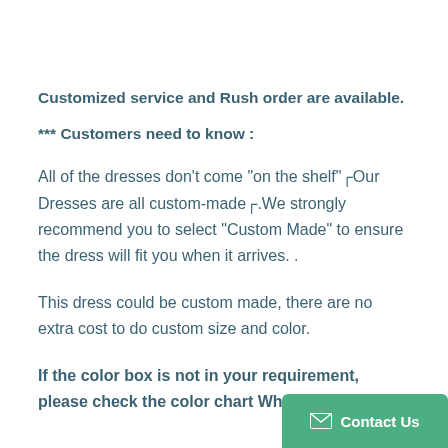Customized service and Rush order are available.
*** Customers need to know :
All of the dresses don't come "on the shelf"┌Our Dresses are all custom-made┌.We strongly recommend you to select "Custom Made" to ensure the dress will fit you when it arrives. .
This dress could be custom made, there are no extra cost to do custom size and color.
If the color box is not in your requirement, please check the color chart When you choose color,please leave us a message that whic